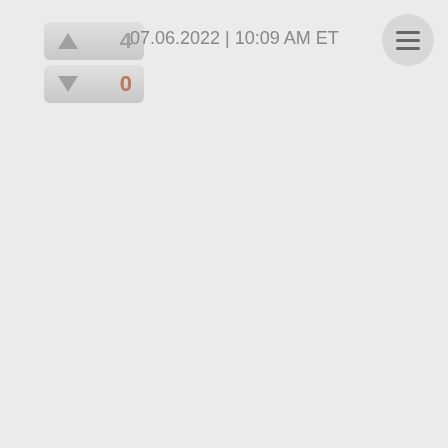[Figure (other): Up vote button with triangle arrow and count 4]
[Figure (other): Down vote button with triangle arrow and count 0]
07.06.2022 | 10:09 AM ET
[Figure (other): Hamburger menu icon button (three horizontal lines) in a circular gray button]